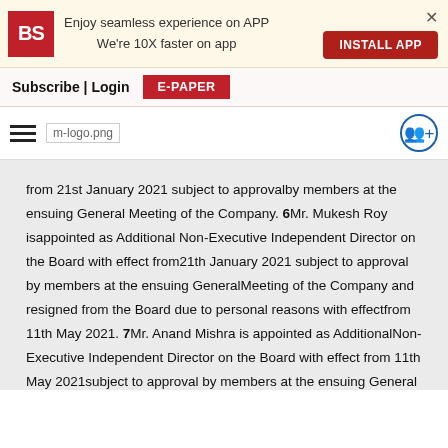Enjoy seamless experience on APP
We're 10X faster on app
Subscribe | Login  E-PAPER
[Figure (logo): BS logo and m-logo.png with hamburger menu and share icon]
from 21st January 2021 subject to approval by members at the ensuing General Meeting of the Company. 6Mr. Mukesh Roy isappointed as Additional Non-Executive Independent Director on the Board with effect from21th January 2021 subject to approval by members at the ensuing GeneralMeeting of the Company and resigned from the Board due to personal reasons with effectfrom 11th May 2021. 7Mr. Anand Mishra is appointed as AdditionalNon-Executive Independent Director on the Board with effect from 11th May 2021subject to approval by members at the ensuing General Meeting of the Company. 8Mr.Mukul Jain is appointed as Additional Non-Executive Independent Director on the Board witheffect from 11th May 2021 subject to approval by members at the ensuingGeneral Meeting of the Company. 9Ms. Nisha Tolaram Bhagvani is appointed asCompany Secretary and Compliance Officer of the Company with effect from 6thJuly 2020 and resigned due to personal reasons with effect from 21st January2021.